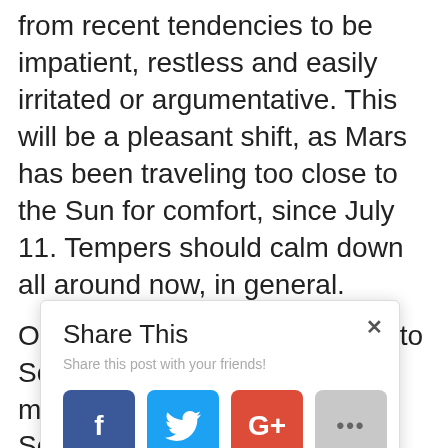from recent tendencies to be impatient, restless and easily irritated or argumentative. This will be a pleasant shift, as Mars has been traveling too close to the Sun for comfort, since July 11. Tempers should calm down all around now, in general.
Oct. 23 – MERCURY moves into Scorpio. This influence is a mixed blend for those with Scorpio Ascendants or Moon signs.
Share This
Share this post with your friends!